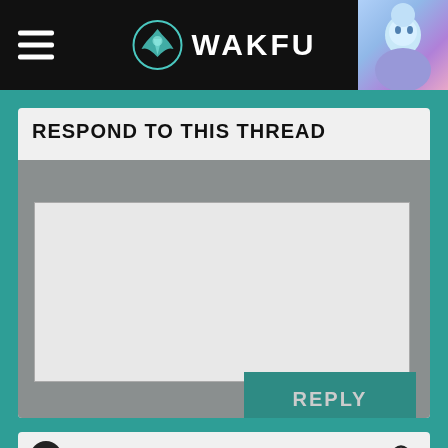WAKFU
RESPOND TO THIS THREAD
Search forums